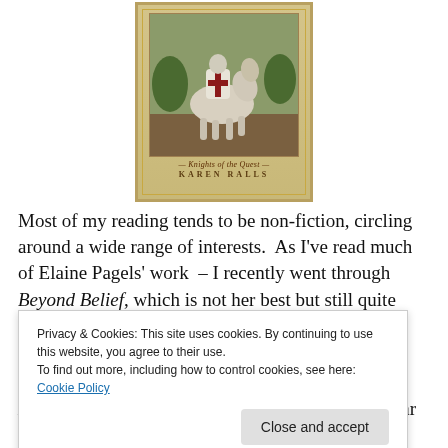[Figure (illustration): Book cover for 'Knights of the Quest' by Karen Ralls showing a knight in white armor with a red cross riding a white horse. The cover has a decorative golden border. Below the image is italic text 'Knights of the Quest' and the author name 'KAREN RALLS' in spaced capital letters.]
Most of my reading tends to be non-fiction, circling around a wide range of interests.  As I've read much of Elaine Pagels' work  – I recently went through Beyond Belief, which is not her best but still quite provocative.  Also
Privacy & Cookies: This site uses cookies. By continuing to use this website, you agree to their use.
To find out more, including how to control cookies, see here: Cookie Policy
Enchantment, which is the best book I've seen so far on